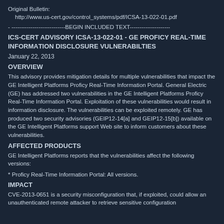Original Bulletin:
   http://www.us-cert.gov/control_systems/pdf/ICSA-13-022-01.pdf
- ----------------------------BEGIN INCLUDED TEXT---------------------
ICS-CERT ADVISORY ICSA-13-022-01 - GE PROFICY REAL-TIME INFORMATION DISCLOSURE VULNERABILTIES
January 22, 2013
OVERVIEW
This advisory provides mitigation details for multiple vulnerabilities that impact the GE Intelligent Platforms Proficy Real-Time Information Portal. General Electric (GE) has addressed two vulnerabilities in the GE Intelligent Platforms Proficy Real-Time Information Portal. Exploitation of these vulnerabilities would result in information disclosure. The vulnerabilities can be exploited remotely. GE has produced two security advisories (GEIP12-14[a] and GEIP12-15[b]) available on the GE Intelligent Platforms support Web site to inform customers about these vulnerabilities.
AFFECTED PRODUCTS
GE Intelligent Platforms reports that the vulnerabilities affect the following versions:
* Proficy Real-Time Information Portal: All versions.
IMPACT
CVE-2013-0651 is a security misconfiguration that, if exploited, could allow an unauthenticated remote attacker to retrieve sensitive configuration